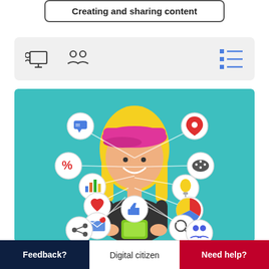Creating and sharing content
[Figure (illustration): Icon bar with person-at-screen, two-people, and list icons on a light grey background]
[Figure (illustration): Cartoon illustration of a smiling girl with pink cap and blonde hair holding a green smartphone, surrounded by connected circles containing icons: chat, location pin, gamepad, lightbulb, pie chart, magnifier, people, share, mail, heart, thumbs up, bar chart, percent]
How can the internet be used to expand opportunities for learning?
Feedback? | Digital citizen | Need help?